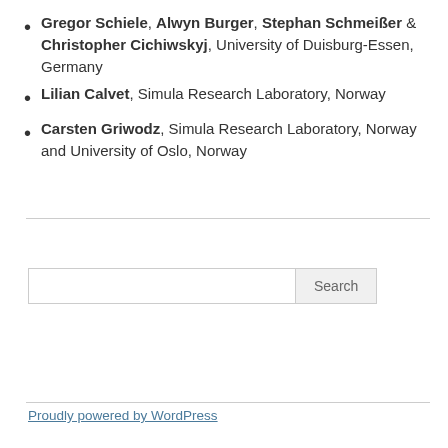Gregor Schiele, Alwyn Burger, Stephan Schmeißer & Christopher Cichiwskyj, University of Duisburg-Essen, Germany
Lilian Calvet, Simula Research Laboratory, Norway
Carsten Griwodz, Simula Research Laboratory, Norway and University of Oslo, Norway
Proudly powered by WordPress